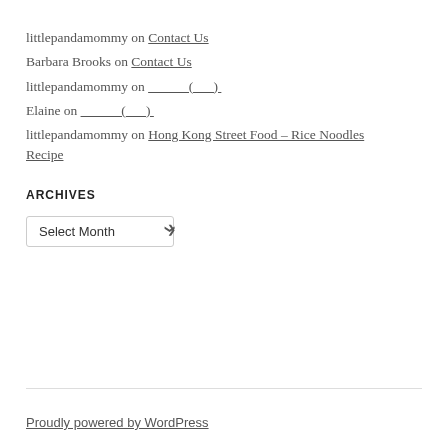littlepandamommy on Contact Us
Barbara Brooks on Contact Us
littlepandamommy on ______(___)
Elaine on ______(___)
littlepandamommy on Hong Kong Street Food – Rice Noodles Recipe
ARCHIVES
Proudly powered by WordPress